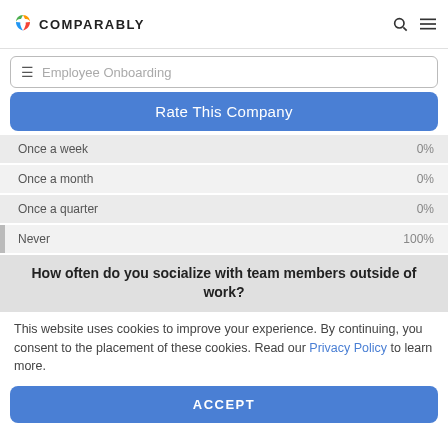COMPARABLY
Employee Onboarding
Rate This Company
| Category | Percentage |
| --- | --- |
| Once a week | 0% |
| Once a month | 0% |
| Once a quarter | 0% |
| Never | 100% |
How often do you socialize with team members outside of work?
This website uses cookies to improve your experience. By continuing, you consent to the placement of these cookies. Read our Privacy Policy to learn more.
ACCEPT